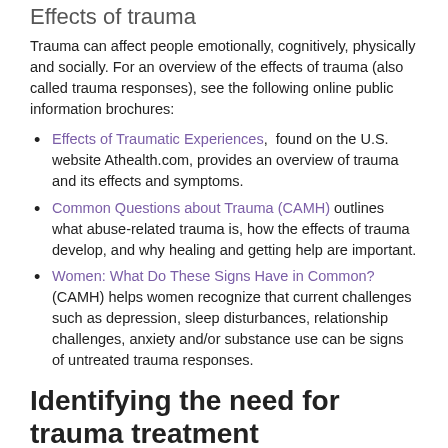Effects of trauma
Trauma can affect people emotionally, cognitively, physically and socially. For an overview of the effects of trauma (also called trauma responses), see the following online public information brochures:
Effects of Traumatic Experiences,  found on the U.S. website Athealth.com, provides an overview of trauma and its effects and symptoms.
Common Questions about Trauma (CAMH) outlines what abuse-related trauma is, how the effects of trauma develop, and why healing and getting help are important.
Women: What Do These Signs Have in Common? (CAMH) helps women recognize that current challenges such as depression, sleep disturbances, relationship challenges, anxiety and/or substance use can be signs of untreated trauma responses.
Identifying the need for trauma treatment
Criteria for identifying or diagnosing simple or complex post-